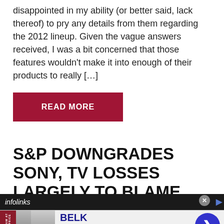disappointed in my ability (or better said, lack thereof) to pry any details from them regarding the 2012 lineup. Given the vague answers received, I was a bit concerned that those features wouldn't make it into enough of their products to really […]
READ MORE
S&P DOWNGRADES SONY, TV LOSSES LARGELY TO BLAME
[Figure (other): Infolinks advertisement banner with Belk brand ad showing denim clothing images, brand name BELK, tagline 'Denim all day.', URL www.belk.com, and a blue circular arrow button]